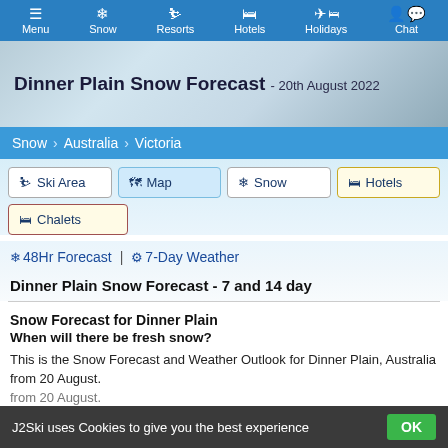Menu | Snow | Resorts | Hotels | Holidays | Chat
Dinner Plain Snow Forecast - 20th August 2022
Snow > Australia > Victoria
Ski Area | Map | Snow | Hotels | Chalets
❄ 48Hr Forecast | ⚙ 7-Day Weather
Dinner Plain Snow Forecast - 7 and 14 day
Snow Forecast for Dinner Plain
When will there be fresh snow?
This is the Snow Forecast and Weather Outlook for Dinner Plain, Australia from 20 August.
J2Ski uses Cookies to give you the best experience  OK